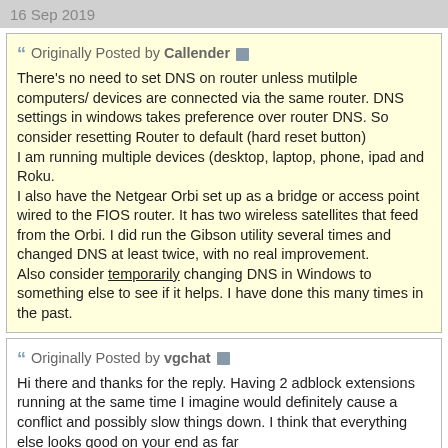16 Sep 2019
Originally Posted by Callender
There's no need to set DNS on router unless mutilple computers/ devices are connected via the same router. DNS settings in windows takes preference over router DNS. So consider resetting Router to default (hard reset button)
I am running multiple devices (desktop, laptop, phone, ipad and Roku.
I also have the Netgear Orbi set up as a bridge or access point wired to the FIOS router. It has two wireless satellites that feed from the Orbi. I did run the Gibson utility several times and changed DNS at least twice, with no real improvement.
Also consider temporarily changing DNS in Windows to something else to see if it helps. I have done this many times in the past.
Originally Posted by vgchat
Hi there and thanks for the reply. Having 2 adblock extensions running at the same time I imagine would definitely cause a conflict and possibly slow things down. I think that everything else looks good on your end as far